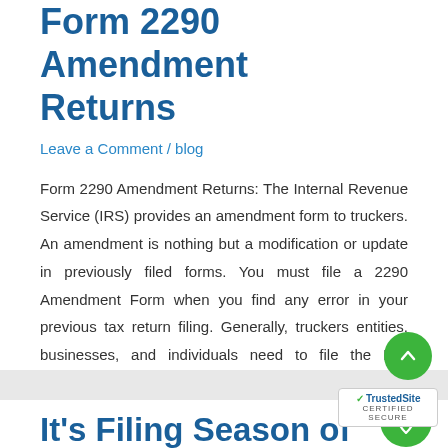Form 2290 Amendment Returns
Leave a Comment / blog
Form 2290 Amendment Returns: The Internal Revenue Service (IRS) provides an amendment form to truckers. An amendment is nothing but a modification or update in previously filed forms. You must file a 2290 Amendment Form when you find any error in your previous tax return filing. Generally, truckers entities, businesses, and individuals need to file the IRS amendment form in …
Read More »
It's Filing Season of the 2… Tax Form